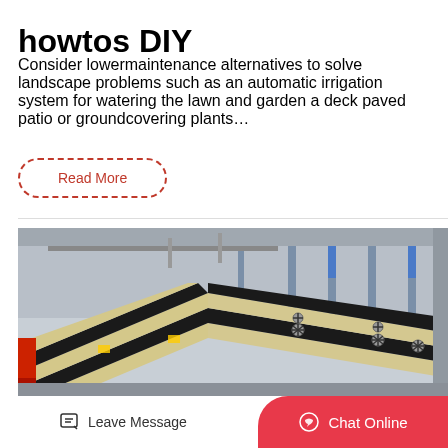howtos DIY
Consider lowermaintenance alternatives to solve landscape problems such as an automatic irrigation system for watering the lawn and garden a deck paved patio or groundcovering plants…
Read More
[Figure (photo): Industrial machinery in a large factory — stacked vibrating screen equipment with yellow/black panels and star-shaped fasteners, surrounded by metal structures and columns in the background.]
Leave Message
Chat Online